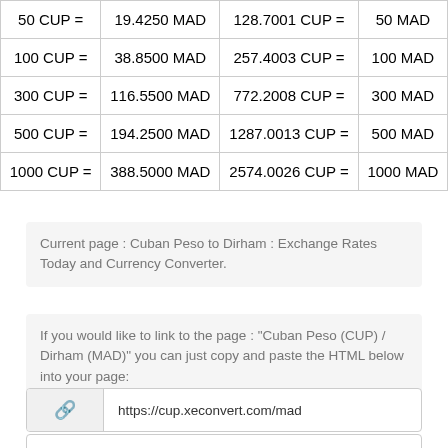| 50 CUP = | 19.4250 MAD | 128.7001 CUP = | 50 MAD |
| 100 CUP = | 38.8500 MAD | 257.4003 CUP = | 100 MAD |
| 300 CUP = | 116.5500 MAD | 772.2008 CUP = | 300 MAD |
| 500 CUP = | 194.2500 MAD | 1287.0013 CUP = | 500 MAD |
| 1000 CUP = | 388.5000 MAD | 2574.0026 CUP = | 1000 MAD |
Current page : Cuban Peso to Dirham : Exchange Rates Today and Currency Converter.
If you would like to link to the page : "Cuban Peso (CUP) / Dirham (MAD)" you can just copy and paste the HTML below into your page:
https://cup.xeconvert.com/mad
<a href="https://cup.xeconvert.com/mad">1 CUP